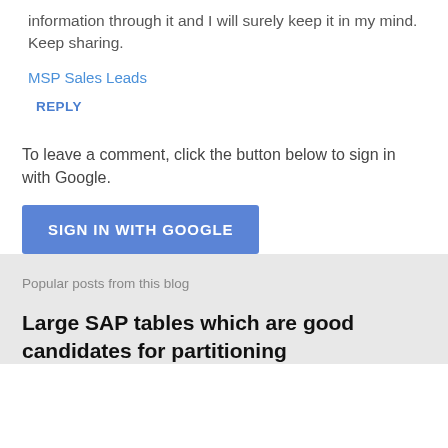information through it and I will surely keep it in my mind. Keep sharing.
MSP Sales Leads
REPLY
To leave a comment, click the button below to sign in with Google.
[Figure (other): SIGN IN WITH GOOGLE button (blue)]
Popular posts from this blog
Large SAP tables which are good candidates for partitioning